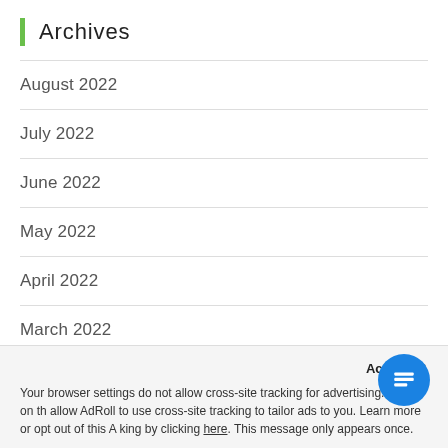Archives
August 2022
July 2022
June 2022
May 2022
April 2022
March 2022
February 2022
January 2022
December 2021
Accep × Your browser settings do not allow cross-site tracking for advertising. Click on this to allow AdRoll to use cross-site tracking to tailor ads to you. Learn more or opt out of this AdRoll tracking by clicking here. This message only appears once.